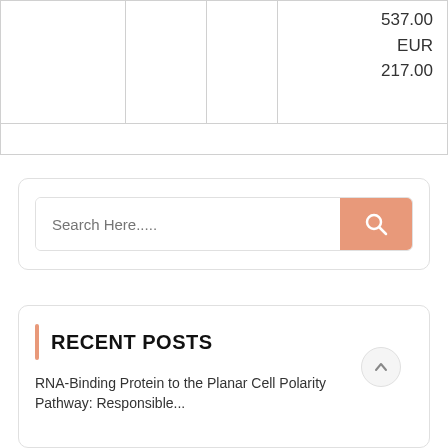|  |  |  | 537.00
EUR
217.00 |
|  |  |  |  |
[Figure (other): Search bar with orange/salmon search button and magnifying glass icon, placeholder text 'Search Here....']
RECENT POSTS
RNA-Binding Protein to the Planar Cell Polarity Pathway: Responsible...